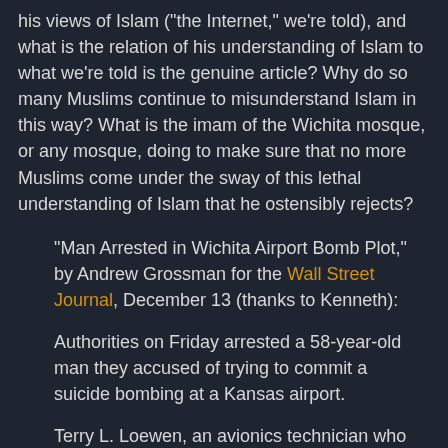his views of Islam ("the Internet," we're told), and what is the relation of his understanding of Islam to what we're told is the genuine article? Why do so many Muslims continue to misunderstand Islam in this way? What is the imam of the Wichita mosque, or any mosque, doing to make sure that no more Muslims come under the sway of this lethal understanding of Islam that he ostensibly rejects?
"Man Arrested in Wichita Airport Bomb Plot," by Andrew Grossman for the Wall Street Journal, December 13 (thanks to Kenneth):
Authorities on Friday arrested a 58-year-old man they accused of trying to commit a suicide bombing at a Kansas airport.
Terry L. Loewen, an avionics technician who worked at Wichita Mid-Continent Airport, was arrested Friday morning after he tried to use his airport access card to drive onto the tarmac and set off what he thought was a bomb near the terminals, according to a complaint filed in federal court Friday.